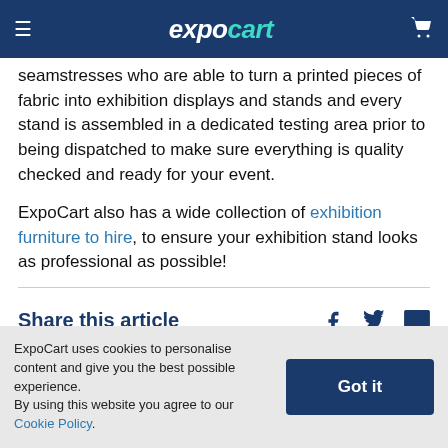expocart
seamstresses who are able to turn a printed pieces of fabric into exhibition displays and stands and every stand is assembled in a dedicated testing area prior to being dispatched to make sure everything is quality checked and ready for your event.
ExpoCart also has a wide collection of exhibition furniture to hire, to ensure your exhibition stand looks as professional as possible!
Share this article
ExpoCart uses cookies to personalise content and give you the best possible experience. By using this website you agree to our Cookie Policy.